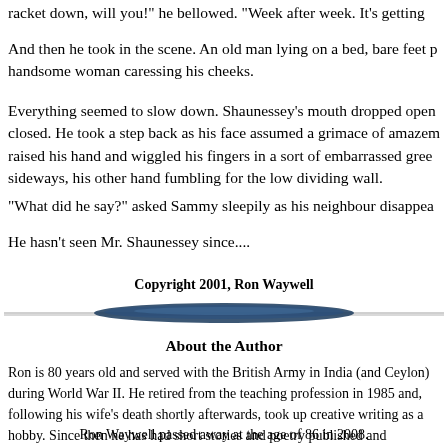racket down, will you!" he bellowed. "Week after week. It's getting
And then he took in the scene. An old man lying on a bed, bare feet p handsome woman caressing his cheeks.
Everything seemed to slow down. Shaunessey's mouth dropped open closed. He took a step back as his face assumed a grimace of amazem raised his hand and wiggled his fingers in a sort of embarrassed gree sideways, his other hand fumbling for the low dividing wall.
"What did he say?" asked Sammy sleepily as his neighbour disappea
He hasn't seen Mr. Shaunessey since....
Copyright 2001, Ron Waywell
[Figure (illustration): Decorative horizontal divider with dark blue elliptical shape]
About the Author
Ron is 80 years old and served with the British Army in India (and Ceylon) during World War II. He retired from the teaching profession in 1985 and, following his wife's death shortly afterwards, took up creative writing as a hobby. Since then he has had short stories and poetry published and broadcast. The North West Network of the B.B.C has broadcast seventeen of his stories.
Ron Waywell passed away at the age of 86 in 2008.